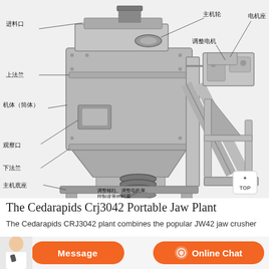[Figure (engineering-diagram): Labeled engineering diagram of an industrial jaw crusher / vertical shaft impact crusher machine shown in grayscale 3D perspective view. Chinese language callout labels point to various components: 进料口 (feed inlet), 主机轮 (main wheel), 电机座 (motor base), 上法兰 (upper flange), 调整电机 (adjusting motor), 机体（筒体）(machine body/cylinder), 观察口 (observation port), 下法兰 (lower flange), 主机底座 (main base), 调整螺柱、调整电机座、控制皮带的松紧 (adjusting stud, adjusting motor base, control belt tension). A TOP button is visible in the lower right of the diagram area.]
The Cedarapids Crj3042 Portable Jaw Plant
The Cedarapids CRJ3042 plant combines the popular JW42 jaw crusher